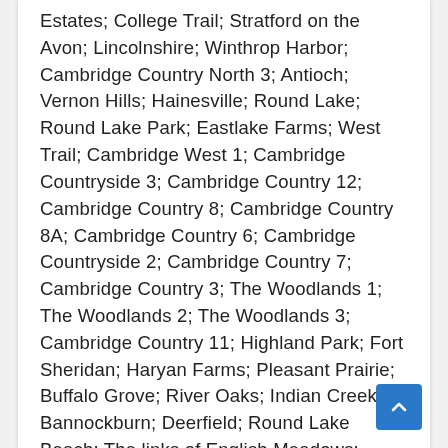Estates; College Trail; Stratford on the Avon; Lincolnshire; Winthrop Harbor; Cambridge Country North 3; Antioch; Vernon Hills; Hainesville; Round Lake; Round Lake Park; Eastlake Farms; West Trail; Cambridge West 1; Cambridge Countryside 3; Cambridge Country 12; Cambridge Country 8; Cambridge Country 8A; Cambridge Country 6; Cambridge Countryside 2; Cambridge Country 7; Cambridge Country 3; The Woodlands 1; The Woodlands 2; The Woodlands 3; Cambridge Country 11; Highland Park; Fort Sheridan; Haryan Farms; Pleasant Prairie; Buffalo Grove; River Oaks; Indian Creek; Bannockburn; Deerfield; Round Lake Beach; The links of English Meadows; English Meadows; The Manor; Highwood; Hawthorn Woods; Roslyn Woods; Long Grove; Cambridge Countryside 1; Vacek Brothers; Diamond Lake; Phillip; Kari Court; Forest Manor;